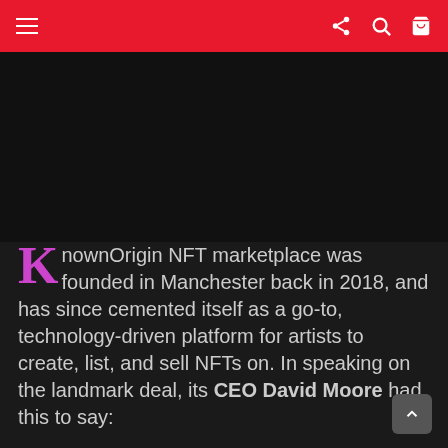KnownOrigin NFT marketplace article page header with navigation
[Figure (photo): Dark/black image area placeholder for article media]
KnownOrigin NFT marketplace was founded in Manchester back in 2018, and has since cemented itself as a go-to, technology-driven platform for artists to create, list, and sell NFTs on. In speaking on the landmark deal, its CEO David Moore had this to say: